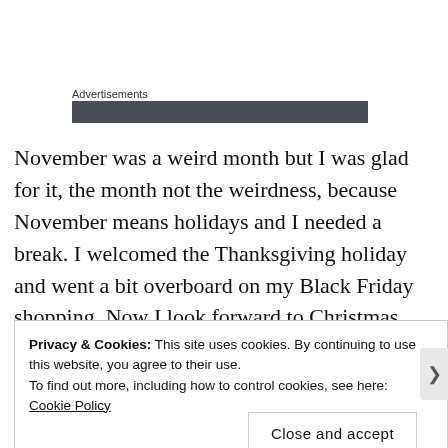Advertisements
[Figure (other): Dark gray advertisement banner bar]
November was a weird month but I was glad for it, the month not the weirdness, because November means holidays and I needed a break. I welcomed the Thanksgiving holiday and went a bit overboard on my Black Friday shopping. Now I look forward to Christmas and New Year’s Day, though with a bit of trepidation because that would
Privacy & Cookies: This site uses cookies. By continuing to use this website, you agree to their use.
To find out more, including how to control cookies, see here: Cookie Policy
Close and accept